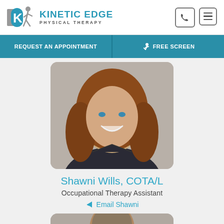KINETIC EDGE PHYSICAL THERAPY
REQUEST AN APPOINTMENT | FREE SCREEN
[Figure (photo): Professional headshot of Shawni Wills, a woman with long curly auburn/brown hair, smiling, wearing a dark navy polo shirt with a logo, against a light gray background.]
Shawni Wills, COTA/L
Occupational Therapy Assistant
Email Shawni
[Figure (photo): Partial view of another staff member's professional headshot, cropped at bottom of page.]